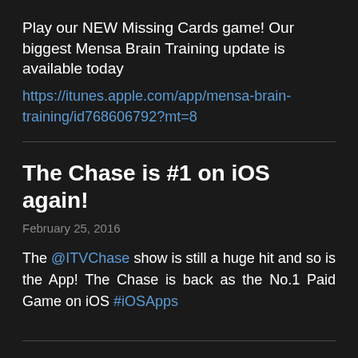Play our NEW Missing Cards game! Our biggest Mensa Brain Training update is available today https://itunes.apple.com/app/mensa-brain-training/id768606792?mt=8
The Chase is #1 on iOS again!
February 25, 2016
The @ITVChase show is still a huge hit and so is the App! The Chase is back as the No.1 Paid Game on iOS #iOSApps